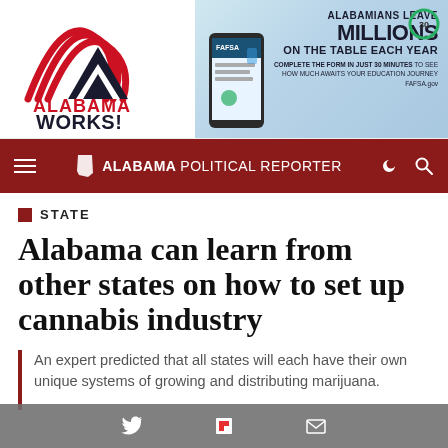[Figure (logo): Alabama Works! logo with red arch lines and black text]
[Figure (infographic): FAFSA advertisement: Alabamians Leave Millions On The Table Each Year. Complete the form in just 30 minutes to see how much awaits your education journey. FAFSA.gov]
ALABAMA POLITICAL REPORTER
STATE
Alabama can learn from other states on how to set up cannabis industry
An expert predicted that all states will each have their own unique systems of growing and distributing marijuana.